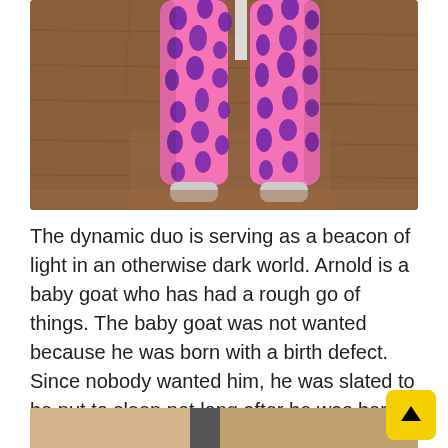[Figure (photo): A baby goat with its front legs wrapped in pink bandages with dark purple polka-dot/teardrop pattern, standing on a wooden floor]
The dynamic duo is serving as a beacon of light in an otherwise dark world. Arnold is a baby goat who has had a rough go of things. The baby goat was not wanted because he was born with a birth defect. Since nobody wanted him, he was slated to be put to sleep not long after he was born. The prognosis was grim for this baby goat, unless someone was willing to step forward.
[Figure (photo): Partial view of another photo at the bottom of the page, showing a light-colored background with a dark vertical element]